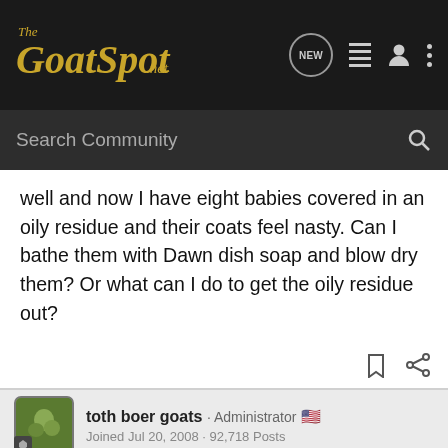The Goat Spot .net — Search Community
well and now I have eight babies covered in an oily residue and their coats feel nasty. Can I bathe them with Dawn dish soap and blow dry them? Or what can I do to get the oily residue out?
toth boer goats · Administrator · Joined Jul 20, 2008 · 92,718 Posts
#2 · Jan 4, 2021
Yes you can bathe them but make sure they get dried well.
I would try to remedy the barrel issue.